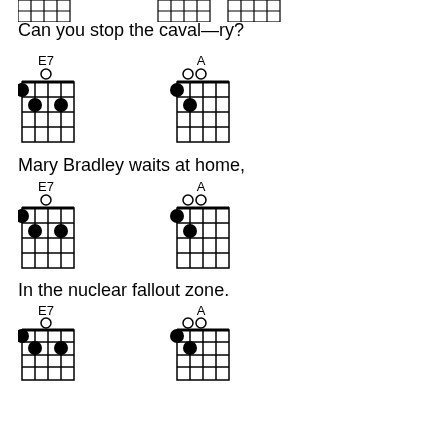[Figure (illustration): Guitar chord diagrams at top of page (partial, cut off)]
Can you stop the caval—ry?
[Figure (illustration): E7 and A chord diagrams]
Mary Bradley waits at home,
[Figure (illustration): E7 and A chord diagrams]
In the nuclear fallout zone.
[Figure (illustration): E7 and A chord diagrams]
Wish I could be dancing now,
[Figure (illustration): E7 and A chord diagrams]
In the arms of the girl I love.
[Figure (illustration): E7 chord diagram (partial at bottom)]